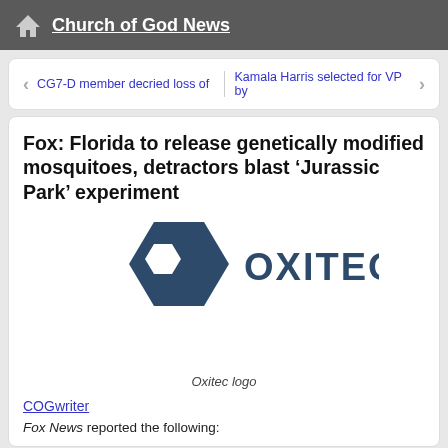Church of God News
CG7-D member decried loss of   Kamala Harris selected for VP by
Fox: Florida to release genetically modified mosquitoes, detractors blast ‘Jurassic Park’ experiment
[Figure (logo): Oxitec company logo: a dark blue hexagon with a white hexagon inside on the left, and the text OXITEC in dark blue bold letters on the right]
Oxitec logo
COGwriter
Fox News reported the following: